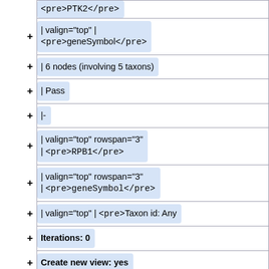| <pre>PTK2</pre> (cut off at top) |
| | valign="top" |
<pre>geneSymbol</pre> |
| | 6 nodes (involving 5 taxons) |
| | Pass |
| |- |
| | valign="top" rowspan="3"
| <pre>RPB1</pre> |
| | valign="top" rowspan="3"
| <pre>geneSymbol</pre> |
| | valign="top" | <pre>Taxon id: Any |
| Iterations: 0 |
| Create new view: yes |
| Use canonical expansion: no</pre> |
| (cut off at bottom) |